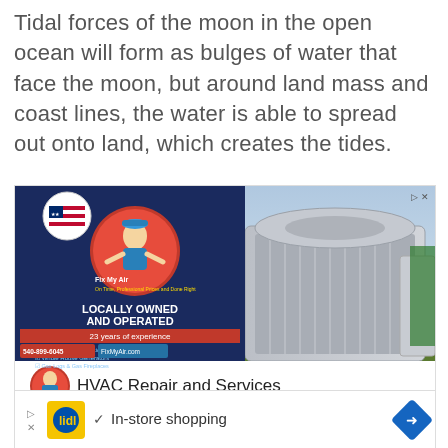Tidal forces of the moon in the open ocean will form as bulges of water that face the moon, but around land mass and coast lines, the water is able to spread out onto land, which creates the tides.
[Figure (photo): Advertisement for HVAC Repair and Services showing air conditioning units outdoors. Text reads: LOCALLY OWNED AND OPERATED, 23 years of experience. Services listed: Heating & Air Conditioning, Whole House Generators, Gas Logs & Gas Fireplaces, Water Heaters, Sales, Service, & Financing. Phone: 540-899-6045, FixMyAir.com. Caption below: HVAC Repair and Services]
[Figure (infographic): Advertisement for Lidl in-store shopping with yellow/blue Lidl logo, checkmark, text 'In-store shopping', and blue diamond arrow on right.]